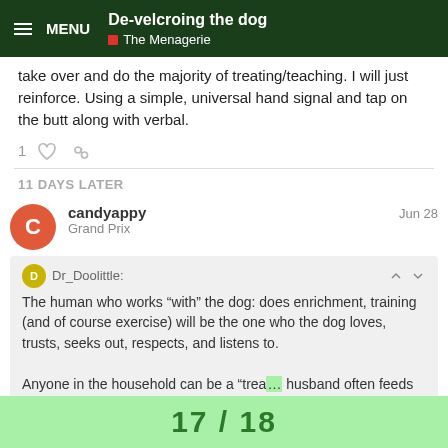MENU | De-velcroing the dog | The Menagerie
take over and do the majority of treating/teaching. I will just reinforce. Using a simple, universal hand signal and tap on the butt along with verbal.
1 [like] [link]
11 DAYS LATER
candyappy   Jun 28
Grand Prix
Dr_Doolittle:
The human who works “with” the dog: does enrichment, training (and of course exercise) will be the one who the dog loves, trusts, seeks out, respects, and listens to.

Anyone in the household can be a “trea... husband often feeds our dogs, but they
17 / 18